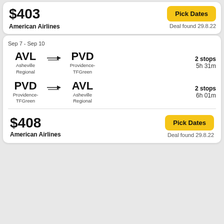$403
American Airlines
Pick Dates
Deal found 29.8.22
Sep 7 - Sep 10
AVL → PVD
Asheville Regional → Providence-TFGreen
2 stops 5h 31m
PVD → AVL
Providence-TFGreen → Asheville Regional
2 stops 6h 01m
$408
American Airlines
Pick Dates
Deal found 29.8.22